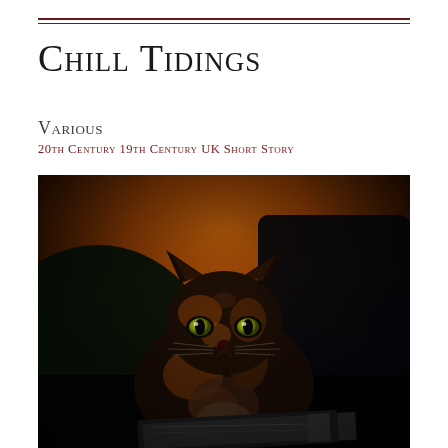Chill Tidings
Various
20th Century 19th Century UK Short Story
[Figure (photo): A tortoiseshell cat with bright yellow-green eyes sitting on a dark sofa, looking directly at the camera. The background is a warm orange-amber wall. The cat has a dark coat with orange and black markings. There appears to be a book in front of the cat.]